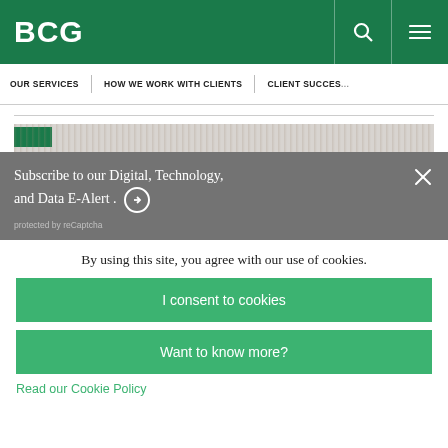BCG
OUR SERVICES | HOW WE WORK WITH CLIENTS | CLIENT SUCCESS
Subscribe to our Digital, Technology, and Data E-Alert. →
protected by reCaptcha
By using this site, you agree with our use of cookies.
I consent to cookies
Want to know more?
Read our Cookie Policy